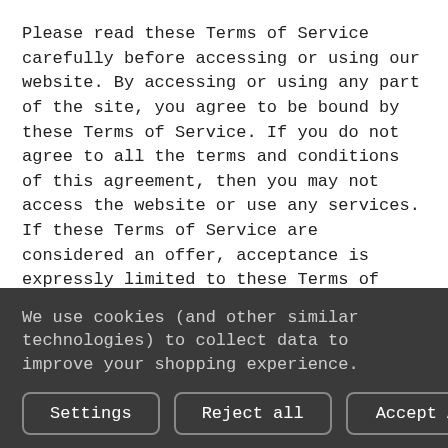Please read these Terms of Service carefully before accessing or using our website. By accessing or using any part of the site, you agree to be bound by these Terms of Service. If you do not agree to all the terms and conditions of this agreement, then you may not access the website or use any services. If these Terms of Service are considered an offer, acceptance is expressly limited to these Terms of Service.
Any new features or tools which are added to the current store shall also be subject to the Terms of Service. You can review the most current version of the Terms of Service at any time on this page. We reserve the right to update, change or replace any part of these Terms of Service by posting updates and/or changes to
We use cookies (and other similar technologies) to collect data to improve your shopping experience.